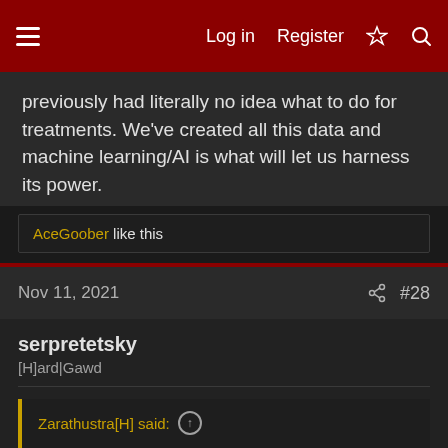Log in | Register | #28
previously had literally no idea what to do for treatments. We've created all this data and machine learning/AI is what will let us harness its power.
AceGoober like this
Nov 11, 2021 #28
serpretetsky
[H]ard|Gawd
Zarathustra[H] said:
Nonsense.

The entire scientific method is based upon forming a hypothesis and then proving it.

AI is more like: